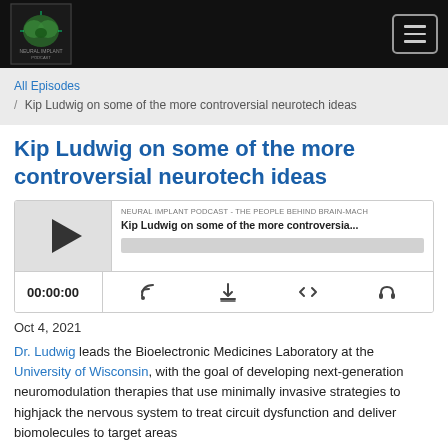[Figure (logo): Neural Implant Podcast logo in navbar]
Neural Implant Podcast - navigation bar with hamburger menu
All Episodes / Kip Ludwig on some of the more controversial neurotech ideas
Kip Ludwig on some of the more controversial neurotech ideas
[Figure (other): Podcast audio player widget showing NEURAL IMPLANT PODCAST - THE PEOPLE BEHIND BRAIN-MACH, episode title Kip Ludwig on some of the more controversia..., progress bar, time 00:00:00, and control icons]
Oct 4, 2021
Dr. Ludwig leads the Bioelectronic Medicines Laboratory at the University of Wisconsin, with the goal of developing next-generation neuromodulation therapies that use minimally invasive strategies to highjack the nervous system to treat circuit dysfunction and deliver biomolecules to target areas